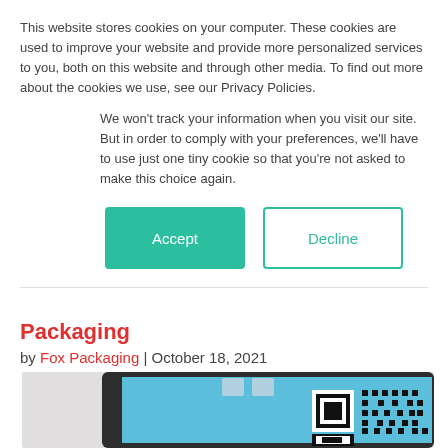This website stores cookies on your computer. These cookies are used to improve your website and provide more personalized services to you, both on this website and through other media. To find out more about the cookies we use, see our Privacy Policies.
We won't track your information when you visit our site. But in order to comply with your preferences, we'll have to use just one tiny cookie so that you're not asked to make this choice again.
Accept | Decline
Packaging
by Fox Packaging | October 18, 2021
[Figure (photo): Photo of a tablet device displaying a QR code on a blue screen background, viewed from an angle.]